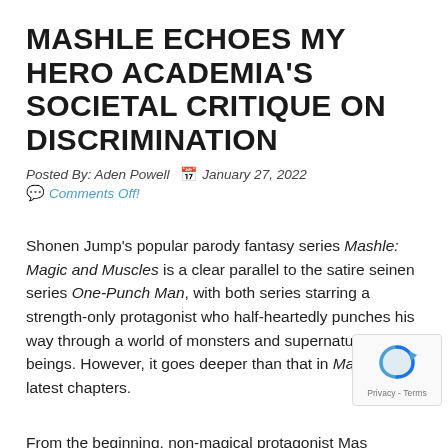MASHLE ECHOES MY HERO ACADEMIA'S SOCIETAL CRITIQUE ON DISCRIMINATION
Posted By: Aden Powell  📅 January 27, 2022
💬 Comments Off!
Shonen Jump's popular parody fantasy series Mashle: Magic and Muscles is a clear parallel to the satire seinen series One-Punch Man, with both series starring a strength-only protagonist who half-heartedly punches his way through a world of monsters and supernatural beings. However, it goes deeper than that in Mashle's latest chapters.
From the beginning, non-magical protagonist Mash Burndead has been an outcast owing to his lack o...